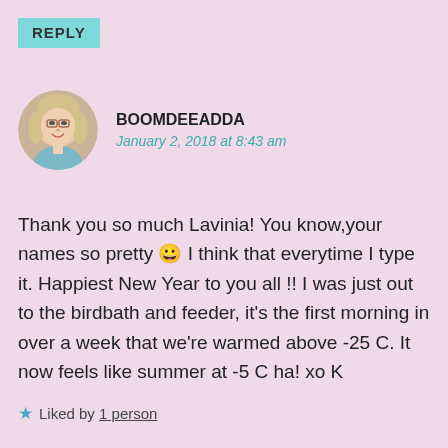REPLY
[Figure (photo): Circular avatar photo of a smiling woman with blonde hair and glasses]
BOOMDEEADDA
January 2, 2018 at 8:43 am
Thank you so much Lavinia! You know,your names so pretty 😀 I think that everytime I type it. Happiest New Year to you all !! I was just out to the birdbath and feeder, it's the first morning in over a week that we're warmed above -25 C. It now feels like summer at -5 C ha! xo K
★ Liked by 1 person